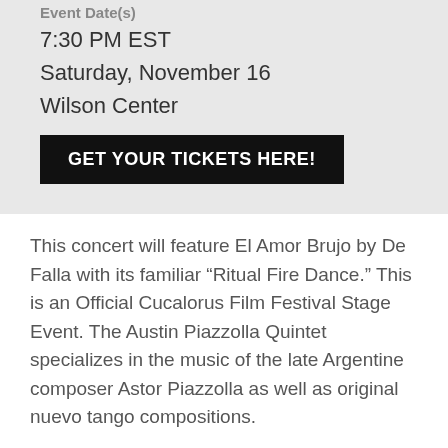Event Date(s)
7:30 PM EST
Saturday, November 16
Wilson Center
GET YOUR TICKETS HERE!
This concert will feature El Amor Brujo by De Falla with its familiar “Ritual Fire Dance.” This is an Official Cucalorus Film Festival Stage Event. The Austin Piazzolla Quintet specializes in the music of the late Argentine composer Astor Piazzolla as well as original nuevo tango compositions.
Bio
Founded by James Anderson (violin), the APQ has